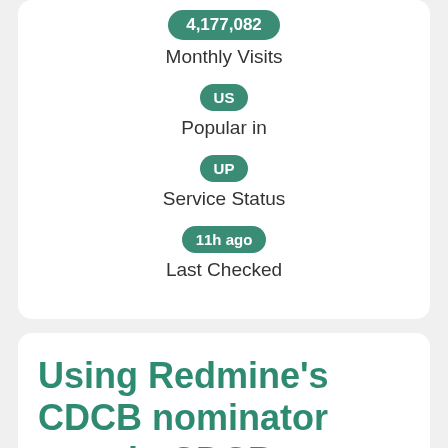4,177,082
Monthly Visits
US
Popular in
UP
Service Status
11h ago
Last Checked
Using Redmine's CDCB nominator portal - CDCB integrated ...